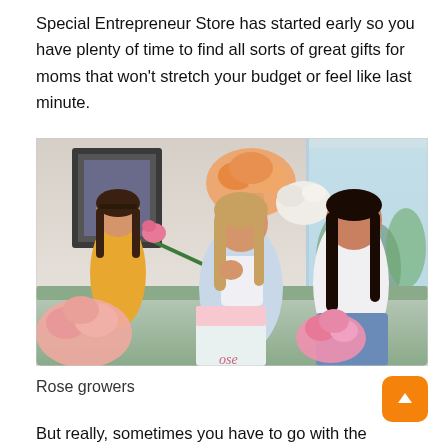Special Entrepreneur Store has started early so you have plenty of time to find all sorts of great gifts for moms that won't stretch your budget or feel like last minute.
[Figure (photo): A woman receiving a rose from a young girl while a teenage girl sits nearby, surrounded by bouquets of roses and gift bags in a bright indoor setting.]
Rose growers
But really, sometimes you have to go with the